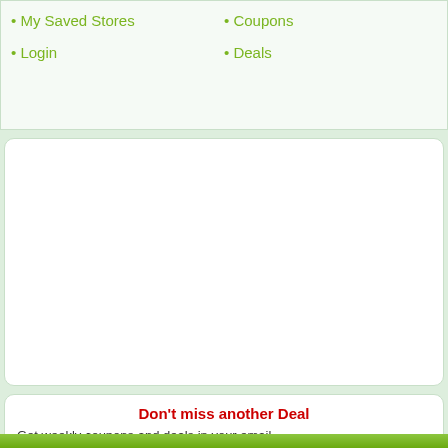My Saved Stores
Coupons
Login
Deals
[Figure (other): Empty white content area / advertisement placeholder]
Don't miss another Deal
Get weekly coupons and deals in your email.
Signup Now